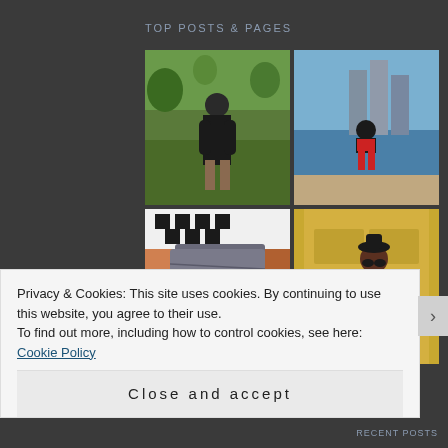TOP POSTS & PAGES
[Figure (photo): Woman in black outfit standing in a park with green trees]
[Figure (photo): Woman in black top and red skirt standing by a river with city skyline]
[Figure (photo): Close-up of a gray skirt or pants with patterned background]
[Figure (photo): Woman in striped shirt and leather jacket leaning against yellow door]
Privacy & Cookies: This site uses cookies. By continuing to use this website, you agree to their use.
To find out more, including how to control cookies, see here: Cookie Policy
Close and accept